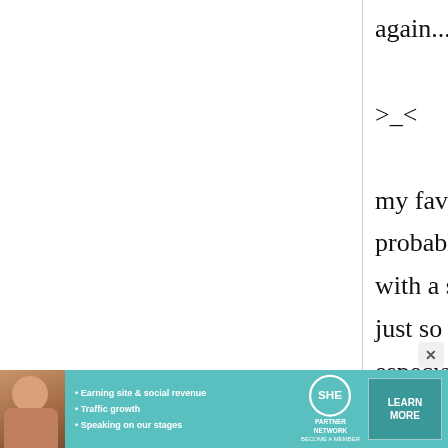again... its been awhile
>_<

my fav drink is probably a gin & tonic with a slice of lime. its just so refreshing especially during hot days. I normally just have it on its own without any snacks but i think salty nuts or
[Figure (screenshot): Advertisement banner for SHE Partner Network featuring a woman's photo, bullet points about earning site & social revenue, traffic growth, speaking on our stages, the SHE Partner Network logo, and a Learn More button]